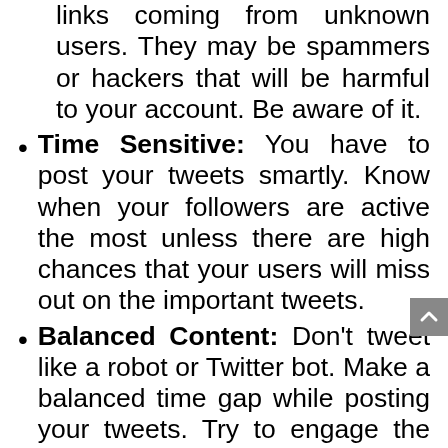Spamming: Stay away from suspicious links coming from unknown users. They may be spammers or hackers that will be harmful to your account. Be aware of it.
Time Sensitive: You have to post your tweets smartly. Know when your followers are active the most unless there are high chances that your users will miss out on the important tweets.
Balanced Content: Don't tweet like a robot or Twitter bot. Make a balanced time gap while posting your tweets. Try to engage the maximum audience with your post.
Resources: Try to utilize your resource ideally to handle your online audience.